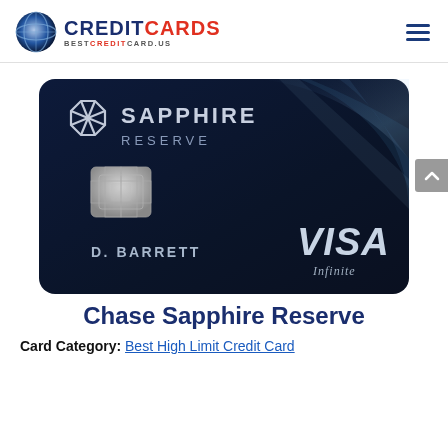CREDITCARDS BESTCREDITCARD.US
[Figure (photo): Chase Sapphire Reserve credit card — dark navy card with Chase logo, 'SAPPHIRE RESERVE' text, EMV chip, cardholder name D. BARRETT, and VISA Infinite logo]
Chase Sapphire Reserve
Card Category: Best High Limit Credit Card